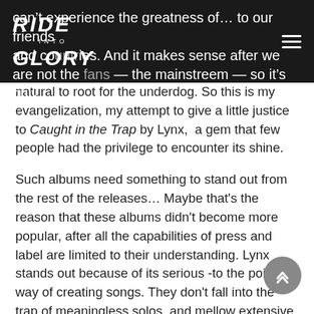Ride Into Glory — navigation header with logo and hamburger menu
natural to root for the underdog. So this is my evangelization, my attempt to give a little justice to Caught in the Trap by Lynx, a gem that few people had the privilege to encounter its shine.
Such albums need something to stand out from the rest of the releases… Maybe that's the reason that these albums didn't become more popular, after all the capabilities of press and label are limited to their understanding. Lynx stands out because of its serious -to the point- way of creating songs. They don't fall into the trap of meaningless solos, and mellow extensive ballads, instead they tap into the essence Deep Purple and Zeppelin and create a rougher amalgamation than their fellow countrymen. The